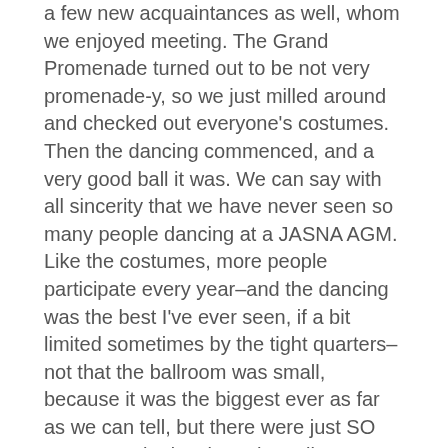a few new acquaintances as well, whom we enjoyed meeting. The Grand Promenade turned out to be not very promenade-y, so we just milled around and checked out everyone's costumes. Then the dancing commenced, and a very good ball it was. We can say with all sincerity that we have never seen so many people dancing at a JASNA AGM. Like the costumes, more people participate every year–and the dancing was the best I've ever seen, if a bit limited sometimes by the tight quarters–not that the ballroom was small, because it was the biggest ever as far as we can tell, but there were just SO many people dancing. The caller was excellent, which might have something to do with the general excellence of the dancing, and if one is new to dancing, a dance workshop is helpful, but we haven't